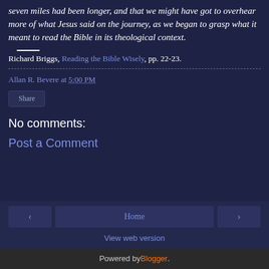seven miles had been longer, and that we might have got to overhear more of what Jesus said on the journey, as we began to grasp what it meant to read the Bible in its theological context.
Richard Briggs, Reading the Bible Wisely, pp. 22-23.
Allan R. Bevere at 5:00 PM
Share
No comments:
Post a Comment
Home
View web version
Powered by Blogger.